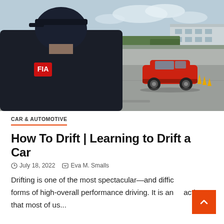[Figure (photo): Person in dark shirt with red logo patch viewed from behind, watching a red sports car on a track/autocross course with orange cones, trees and building in background]
CAR & AUTOMOTIVE
How To Drift | Learning to Drift a Car
July 18, 2022   Eva M. Smalls
Drifting is one of the most spectacular—and difficult forms of high-overall performance driving. It is an action that most of us...